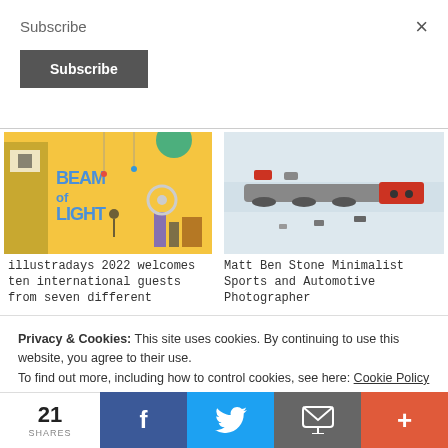Subscribe
Subscribe (button)
×
[Figure (illustration): Beam of Light 2022 illustrated promotional artwork with yellow background and colorful text]
illustradays 2022 welcomes ten international guests from seven different
[Figure (photo): Aerial/top-down photo of minimalist sports and automotive scene with vehicles on light background]
Matt Ben Stone Minimalist Sports and Automotive Photographer
Privacy & Cookies: This site uses cookies. By continuing to use this website, you agree to their use.
To find out more, including how to control cookies, see here: Cookie Policy
21 SHARES
Facebook share
Twitter share
Email share
+ more